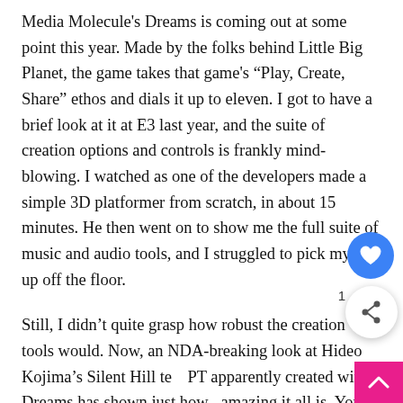Media Molecule's Dreams is coming out at some point this year. Made by the folks behind Little Big Planet, the game takes that game's “Play, Create, Share” ethos and dials it up to eleven. I got to have a brief look at it at E3 last year, and the suite of creation options and controls is frankly mind-blowing. I watched as one of the developers made a simple 3D platformer from scratch, in about 15 minutes. He then went on to show me the full suite of music and audio tools, and I struggled to pick my jaw up off the floor.
Still, I didn’t quite grasp how robust the creation tools would be. Now, an NDA-breaking look at Hideo Kojima’s Silent Hill tea PT apparently created within Dreams has shown just how amazing it all is. You’ll have to have a look at it before it gets yanked, but it’s probably one of the most convincing looks at its possibilities. If this is what people are able to do within the beta, we can likely expect incredible things from Dreams when it’s